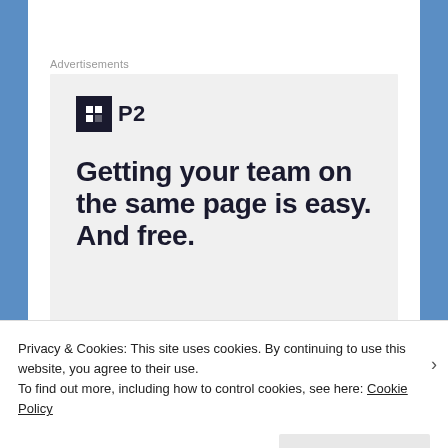Advertisements
[Figure (screenshot): P2 advertisement banner with logo, headline text 'Getting your team on the same page is easy. And free.' and circular avatar photos of team members]
Privacy & Cookies: This site uses cookies. By continuing to use this website, you agree to their use.
To find out more, including how to control cookies, see here: Cookie Policy
Close and accept